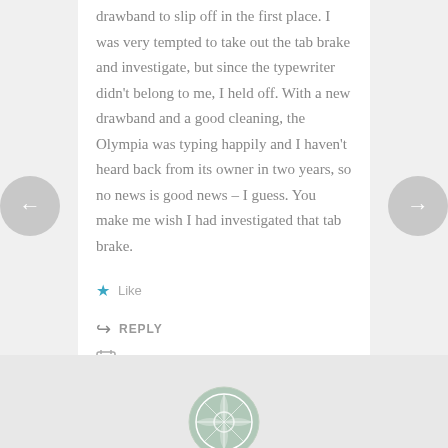drawband to slip off in the first place. I was very tempted to take out the tab brake and investigate, but since the typewriter didn't belong to me, I held off. With a new drawband and a good cleaning, the Olympia was typing happily and I haven't heard back from its owner in two years, so no news is good news – I guess. You make me wish I had investigated that tab brake.
★ Like
↪ REPLY
FEBRUARY 22, 2018 AT 4:38 AM